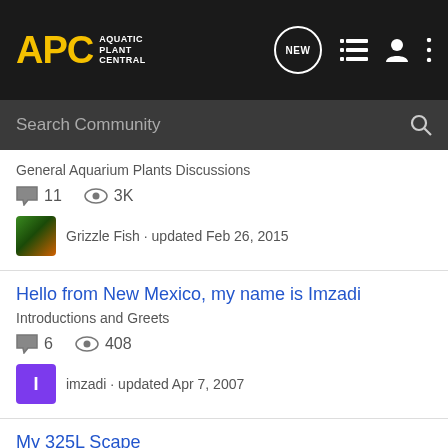APC Aquatic Plant Central
Search Community
General Aquarium Plants Discussions
11 comments · 3K views
Grizzle Fish · updated Feb 26, 2015
Hello from New Mexico, my name is Imzadi
Introductions and Greets
6 comments · 408 views
imzadi · updated Apr 7, 2007
My 325L Scape
Aquascaping